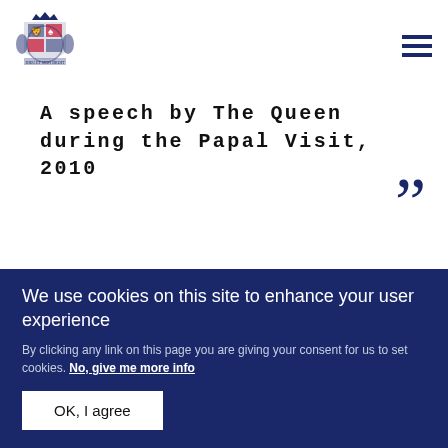[Figure (logo): Royal coat of arms crest logo for the British Royal Family website]
A speech by The Queen during the Papal Visit, 2010
” (closing quotation mark decorative element)
PRESS RELEASE   16 SEPTEMBER 2010
Papal Visit Programme, 16
We use cookies on this site to enhance your user experience
By clicking any link on this page you are giving your consent for us to set cookies. No, give me more info
OK, I agree